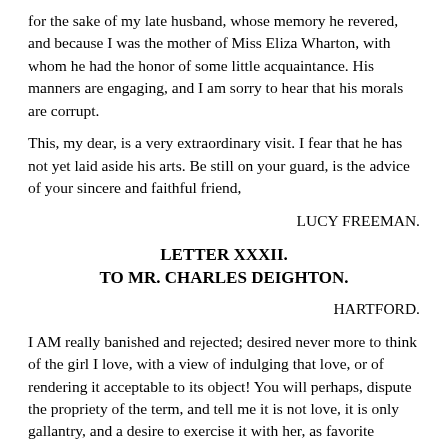for the sake of my late husband, whose memory he revered, and because I was the mother of Miss Eliza Wharton, with whom he had the honor of some little acquaintance. His manners are engaging, and I am sorry to hear that his morals are corrupt.
This, my dear, is a very extraordinary visit. I fear that he has not yet laid aside his arts. Be still on your guard, is the advice of your sincere and faithful friend,
LUCY FREEMAN.
LETTER XXXII.
TO MR. CHARLES DEIGHTON.
HARTFORD.
I AM really banished and rejected; desired never more to think of the girl I love, with a view of indulging that love, or of rendering it acceptable to its object! You will perhaps, dispute the propriety of the term, and tell me it is not love, it is only gallantry, and a desire to exercise it with her, as favorite nymph. I neither know, nor care by what appellation you distinguish it, but it truly gives me pain. I have not felt one sensation of genuine pleasure since I heard my sentence; yet I acquiesced in it, and submissively took my leave; though I doubt not but I shall retaliate the indignity one time or other.